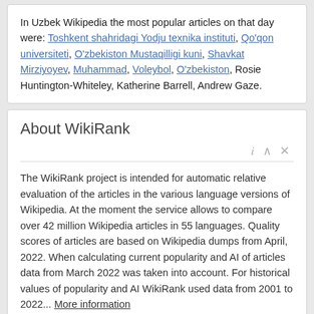In Uzbek Wikipedia the most popular articles on that day were: Toshkent shahridagi Yodju texnika instituti, Qo'qon universiteti, O'zbekiston Mustaqilligi kuni, Shavkat Mirziyoyev, Muhammad, Voleybol, O'zbekiston, Rosie Huntington-Whiteley, Katherine Barrell, Andrew Gaze.
About WikiRank
The WikiRank project is intended for automatic relative evaluation of the articles in the various language versions of Wikipedia. At the moment the service allows to compare over 42 million Wikipedia articles in 55 languages. Quality scores of articles are based on Wikipedia dumps from April, 2022. When calculating current popularity and AI of articles data from March 2022 was taken into account. For historical values of popularity and AI WikiRank used data from 2001 to 2022... More information